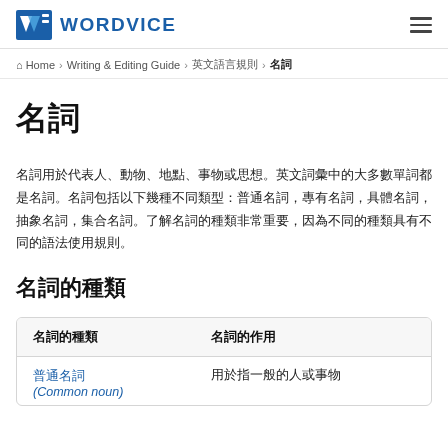WORDVICE
Home > Writing & Editing Guide > 英文語言規則 > 名詞
名詞
名詞用於代表人、動物、地點、事物或思想。英文詞彙中的大多數單詞都是名詞。名詞包括以下幾種不同類型：普通名詞，專有名詞，具體名詞，抽象名詞，集合名詞。了解名詞的種類非常重要，因為不同的種類具有不同的語法使用規則。
名詞的種類
| 名詞的種類 | 名詞的作用 |
| --- | --- |
| 普通名詞
(Common noun) | 用於指一般的人或事物 |